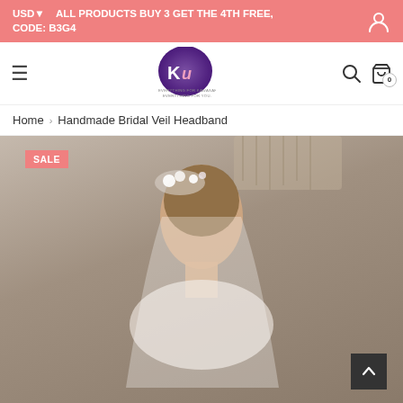USD▼   ALL PRODUCTS BUY 3 GET THE 4TH FREE, CODE: B3G4
[Figure (logo): Ku brand logo — circular purple gradient with stylized 'Ku' letters and tagline 'Everything for Kawasaki, Everything for you']
Home › Handmade Bridal Veil Headband
[Figure (photo): Young woman wearing a handmade bridal floral veil headband with white flowers and pearls, white veil, photographed indoors against a neutral wall with macrame hanging. SALE badge in upper left corner.]